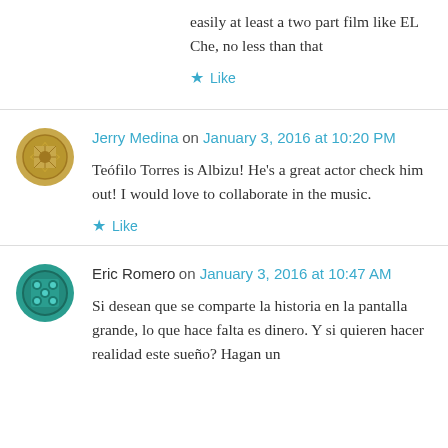easily at least a two part film like EL Che, no less than that
Like
Jerry Medina on January 3, 2016 at 10:20 PM
Teófilo Torres is Albizu! He's a great actor check him out! I would love to collaborate in the music.
Like
Eric Romero on January 3, 2016 at 10:47 AM
Si desean que se comparte la historia en la pantalla grande, lo que hace falta es dinero. Y si quieren hacer realidad este sueño? Hagan un